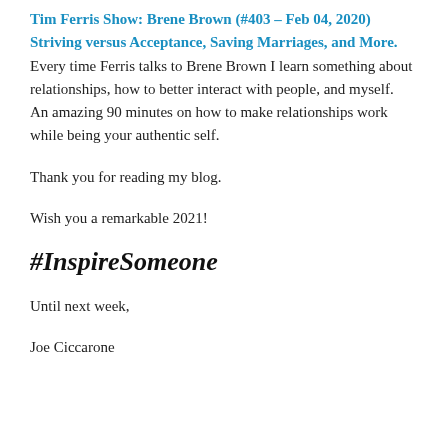Tim Ferris Show: Brene Brown (#403 – Feb 04, 2020) Striving versus Acceptance, Saving Marriages, and More. Every time Ferris talks to Brene Brown I learn something about relationships, how to better interact with people, and myself. An amazing 90 minutes on how to make relationships work while being your authentic self.
Thank you for reading my blog.
Wish you a remarkable 2021!
#InspireSomeone
Until next week,
Joe Ciccarone